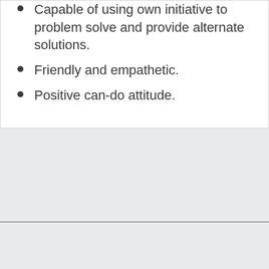Capable of using own initiative to problem solve and provide alternate solutions.
Friendly and empathetic.
Positive can-do attitude.
[Figure (logo): Cento logo with circular wave icon and 'cento' text with trademark symbol in dark navy blue]